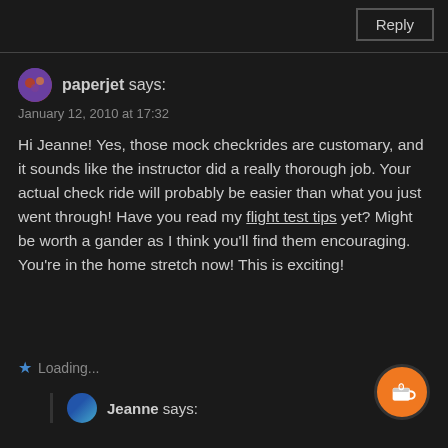Reply
paperjet says:
January 12, 2010 at 17:32
Hi Jeanne! Yes, those mock checkrides are customary, and it sounds like the instructor did a really thorough job. Your actual check ride will probably be easier than what you just went through! Have you read my flight test tips yet? Might be worth a gander as I think you'll find them encouraging. You're in the home stretch now! This is exciting!
Loading...
Jeanne says: